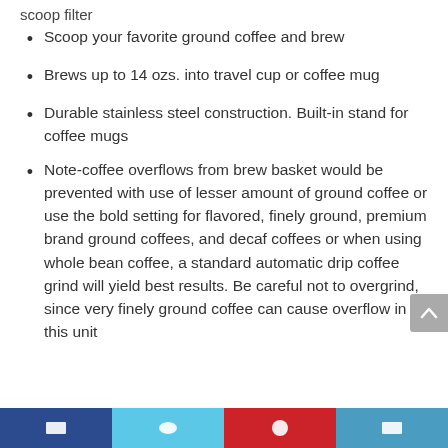scoop filter
Scoop your favorite ground coffee and brew
Brews up to 14 ozs. into travel cup or coffee mug
Durable stainless steel construction. Built-in stand for coffee mugs
Note-coffee overflows from brew basket would be prevented with use of lesser amount of ground coffee or use the bold setting for flavored, finely ground, premium brand ground coffees, and decaf coffees or when using whole bean coffee, a standard automatic drip coffee grind will yield best results. Be careful not to overgrind, since very finely ground coffee can cause overflow in this unit